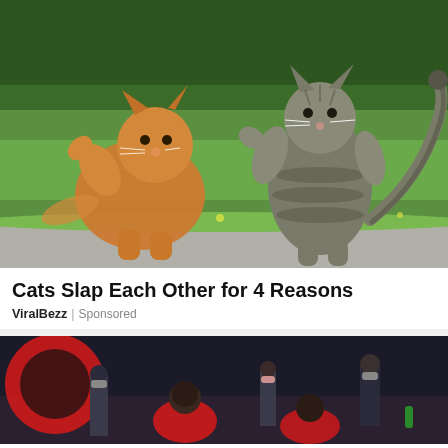[Figure (photo): Two cats fighting/playing outdoors on grass and pavement – an orange fluffy cat on the left and a grey tabby cat standing on hind legs on the right, both with paws raised toward each other. Green hedge in background.]
Cats Slap Each Other for 4 Reasons
ViralBezz | Sponsored
[Figure (photo): Basketball game scene with players in red uniforms, one player bending down, another crouching. Spectators wearing masks visible in background. Toronto Raptors arena visible with red logo.]